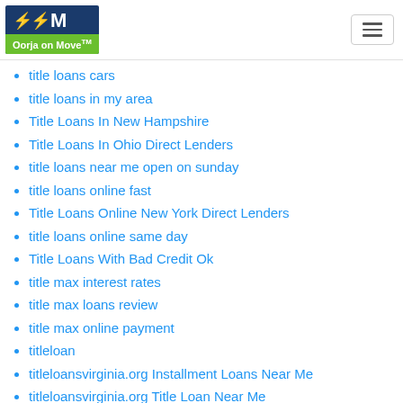Oorja on Move™
title loans cars
title loans in my area
Title Loans In New Hampshire
Title Loans In Ohio Direct Lenders
title loans near me open on sunday
title loans online fast
Title Loans Online New York Direct Lenders
title loans online same day
Title Loans With Bad Credit Ok
title max interest rates
title max loans review
title max online payment
titleloan
titleloansvirginia.org Installment Loans Near Me
titleloansvirginia.org Title Loan Near Me
titleloansvirginia.org Title Loans